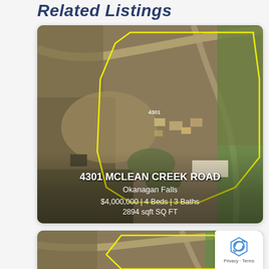Related Listings
[Figure (photo): Aerial satellite view of 4301 McLean Creek Road property in Okanagan Falls, with yellow boundary outline. Overlay text shows address, city, price, beds, baths, and square footage.]
[Figure (photo): Partial aerial satellite view of a second related listing, cropped at the bottom of the page. A reCAPTCHA badge is visible in the lower right corner.]